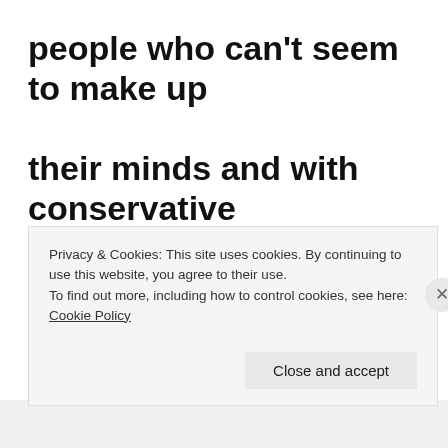people who can't seem to make up their minds and with conservative stick-in-the-muds. Gemini is represented by the Twins (Castor and Pollux to be exact) and
Privacy & Cookies: This site uses cookies. By continuing to use this website, you agree to their use.
To find out more, including how to control cookies, see here: Cookie Policy
Close and accept